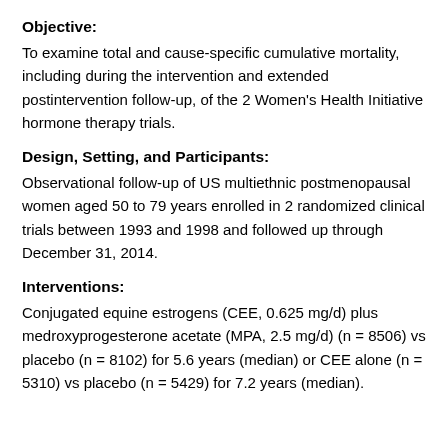Objective:
To examine total and cause-specific cumulative mortality, including during the intervention and extended postintervention follow-up, of the 2 Women's Health Initiative hormone therapy trials.
Design, Setting, and Participants:
Observational follow-up of US multiethnic postmenopausal women aged 50 to 79 years enrolled in 2 randomized clinical trials between 1993 and 1998 and followed up through December 31, 2014.
Interventions:
Conjugated equine estrogens (CEE, 0.625 mg/d) plus medroxyprogesterone acetate (MPA, 2.5 mg/d) (n = 8506) vs placebo (n = 8102) for 5.6 years (median) or CEE alone (n = 5310) vs placebo (n = 5429) for 7.2 years (median).